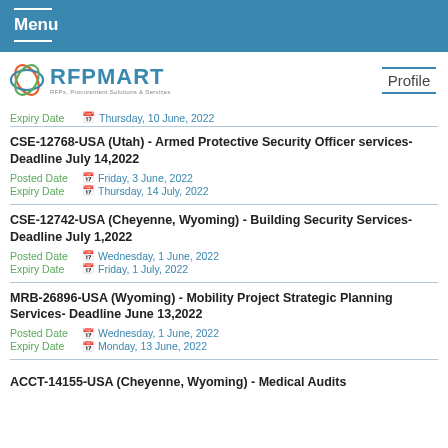Menu
[Figure (logo): RFPMART logo with tagline: RFPs, Procurement Solutions & Services]
Expiry Date  Thursday, 10 June, 2022
CSE-12768-USA (Utah) - Armed Protective Security Officer services- Deadline July 14,2022
Posted Date  Friday, 3 June, 2022
Expiry Date  Thursday, 14 July, 2022
CSE-12742-USA (Cheyenne, Wyoming) - Building Security Services- Deadline July 1,2022
Posted Date  Wednesday, 1 June, 2022
Expiry Date  Friday, 1 July, 2022
MRB-26896-USA (Wyoming) - Mobility Project Strategic Planning Services- Deadline June 13,2022
Posted Date  Wednesday, 1 June, 2022
Expiry Date  Monday, 13 June, 2022
ACCT-14155-USA (Cheyenne, Wyoming) - Medical Audits